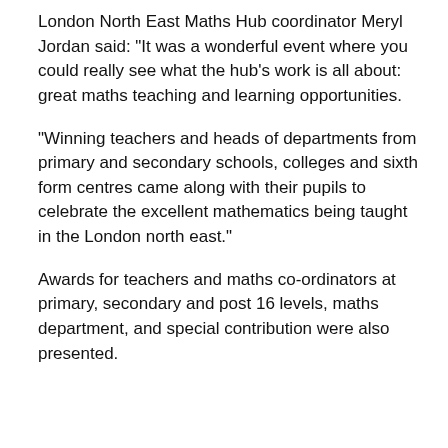London North East Maths Hub coordinator Meryl Jordan said: "It was a wonderful event where you could really see what the hub's work is all about: great maths teaching and learning opportunities.
"Winning teachers and heads of departments from primary and secondary schools, colleges and sixth form centres came along with their pupils to celebrate the excellent mathematics being taught in the London north east."
Awards for teachers and maths co-ordinators at primary, secondary and post 16 levels, maths department, and special contribution were also presented.